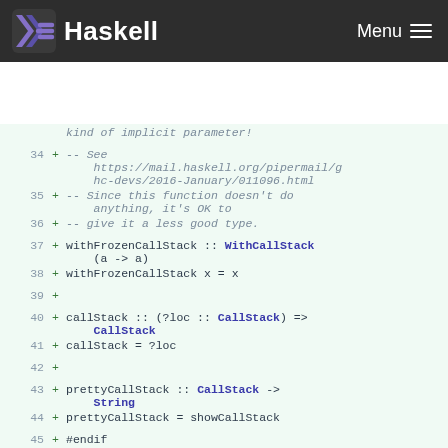Haskell  Menu
34  +  -- See https://mail.haskell.org/pipermail/ghc-devs/2016-January/011096.html
35  +  -- Since this function doesn't do anything, it's OK to
36  +  -- give it a less good type.
37  +  withFrozenCallStack :: WithCallStack (a -> a)
38  +  withFrozenCallStack x = x
39  +
40  +  callStack :: (?loc :: CallStack) => CallStack
41  +  callStack = ?loc
42  +
43  +  prettyCallStack :: CallStack -> String
44  +  prettyCallStack = showCallStack
45  +  #endif
46  +
47  +  -- Give the *parent* of the